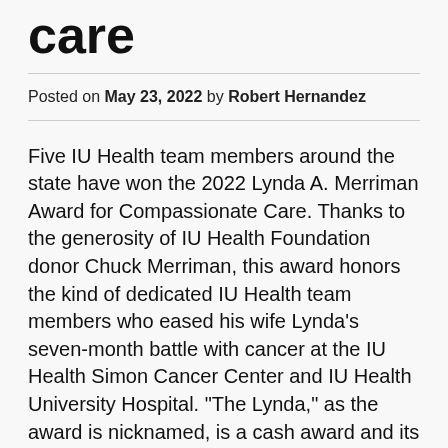care
Posted on May 23, 2022 by Robert Hernandez
Five IU Health team members around the state have won the 2022 Lynda A. Merriman Award for Compassionate Care. Thanks to the generosity of IU Health Foundation donor Chuck Merriman, this award honors the kind of dedicated IU Health team members who eased his wife Lynda's seven-month battle with cancer at the IU Health Simon Cancer Center and IU Health University Hospital. "The Lynda," as the award is nicknamed, is a cash award and its winners are nominated by their peers at IU Health hospitals statewide.